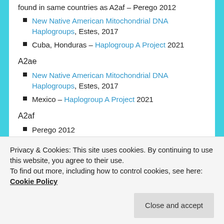found in same countries as A2af – Perego 2012
New Native American Mitochondrial DNA Haplogroups, Estes, 2017
Cuba, Honduras – Haplogroup A Project 2021
A2ae
New Native American Mitochondrial DNA Haplogroups, Estes, 2017
Mexico – Haplogroup A Project 2021
A2af
Perego 2012
Privacy & Cookies: This site uses cookies. By continuing to use this website, you agree to their use.
To find out more, including how to control cookies, see here: Cookie Policy
Close and accept
DNA Haplogroups, Estes, 2017